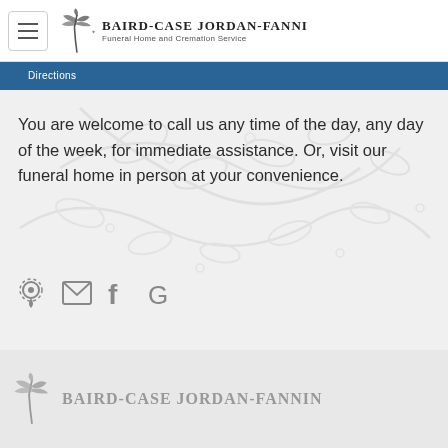Baird-Case Jordan-Fanning Funeral Home and Cremation Service
Directions
You are welcome to call us any time of the day, any day of the week, for immediate assistance. Or, visit our funeral home in person at your convenience.
[Figure (logo): Social media icons: Google Maps, email, Facebook, Google]
Baird-Case Jordan-Fanning